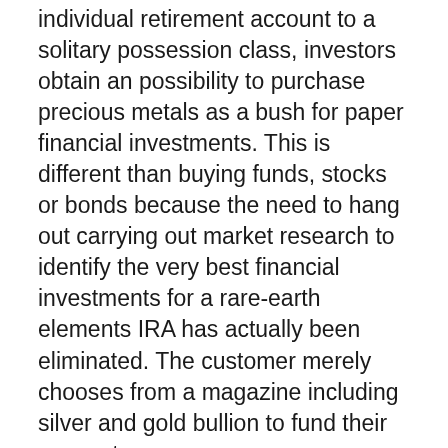individual retirement account to a solitary possession class, investors obtain an possibility to purchase precious metals as a bush for paper financial investments. This is different than buying funds, stocks or bonds because the need to hang out carrying out market research to identify the very best financial investments for a rare-earth elements IRA has actually been eliminated. The customer merely chooses from a magazine including silver and gold bullion to fund their account.
The feature of a Priceless Metals IRA functions similarly as a Roth or Typical IRA. Customers saving for retirement get an financial investment possibility with a tax obligation advantage. A Golden Gold IRA is a